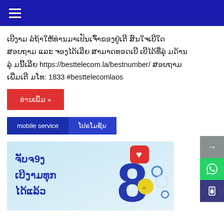☰
ເບີງາມ ລໍຖ້າໃຫ້ທ່ານມາເປັນເຈົ້າຂອງຢູ່ເຕີ ສົນໃຈເບີໃດ ສອບຖາມ ແລະ ຈອງໄດ້ເລີຍ ສາມາດທອດເບີ ເບີໄດ້ທີ່ລຸ່ມດ້ານລຸ່ ມນີ້ເລີຍ https://besttelecom.la/bestnumber/ ສອບຖາມ ເພີ່ມເຕີມໂທ: 1833 #besttelecomlaos
ອ່ານເພີ່ມ »
mobile service	ໂປຣໂມຊັ່ນ
[Figure (illustration): Promotional banner image with Lao text 'ຈັບຈ9ງ ເບີງາມທຸກ ໄດ້ແລ້ວ' and large number 8, light blue background with decorative elements including a red heart icon, yellow ball, and circular design elements]